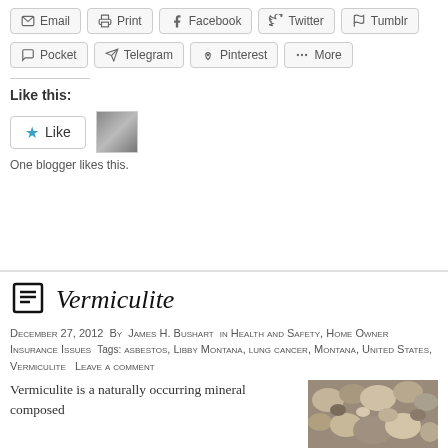[Figure (infographic): Social share buttons row 1: Email, Print, Facebook, Twitter, Tumblr]
[Figure (infographic): Social share buttons row 2: Pocket, Telegram, Pinterest, More]
Like this:
[Figure (infographic): Like button widget with star icon and blogger avatar thumbnail]
One blogger likes this.
Vermiculite
December 27, 2012  By  James H. Bushart  in  Health and Safety, Home Owner Insurance Issues  Tags: asbestos, Libby Montana, lung cancer, Montana, United States, Vermiculite  Leave a comment
Vermiculite is a naturally occurring mineral composed
[Figure (photo): Photo of vermiculite mineral chunks, gray-brown rocky texture]